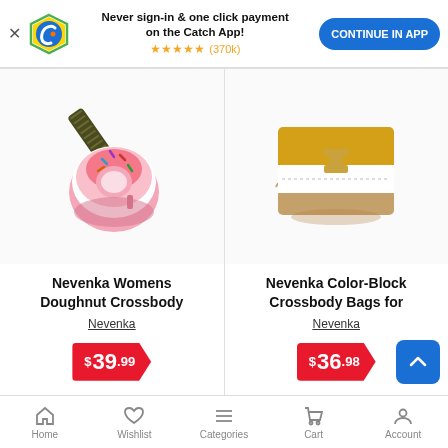[Figure (screenshot): Catch app promotional banner with logo, text 'Never sign-in & one click payment on the Catch App!', star rating ★★★★★ (370k), and 'CONTINUE IN APP' button]
[Figure (photo): Nevenka Womens Doughnut Crossbody bag — pink donut-shaped bag with olive/black strap]
Nevenka Womens Doughnut Crossbody
Nevenka
$39.99
[Figure (photo): Nevenka Color-Block Crossbody Bag — yellow, white and tan structured bag with gold hardware]
Nevenka Color-Block Crossbody Bags for
Nevenka
$36.98
Home  Wishlist  Categories  Cart  Account